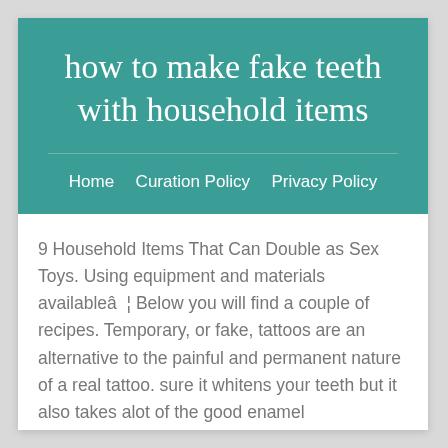how to make fake teeth with household items
Home    Curation Policy    Privacy Policy
9 Household Items That Can Double as Sex Toys. Using equipment and materials availableâ ¦ Below you will find a couple of recipes. Temporary, or fake, tattoos are an alternative to the painful and permanent nature of a real tattoo. sure it whitens your teeth but it also takes alot of the good enamel